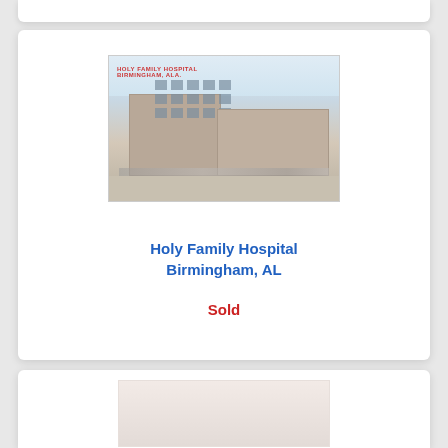[Figure (photo): Exterior photo of Holy Family Hospital building in Birmingham, AL - a multi-story brick/concrete building with parking lot in front]
Holy Family Hospital
Birmingham, AL
Sold
[Figure (photo): Partially visible exterior photo of another hospital or building property, faded/watermark style]